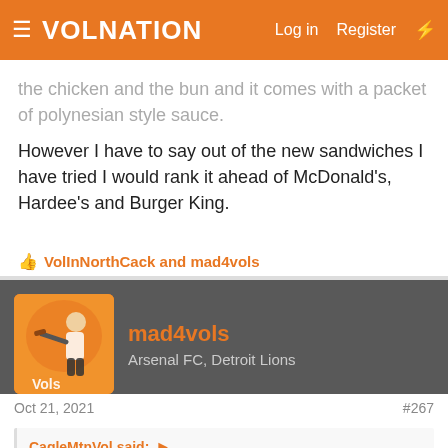VolNation — Log in  Register
the chicken and the bun and it comes with a packet of polynesian style sauce.
However I have to say out of the new sandwiches I have tried I would rank it ahead of McDonald's, Hardee's and Burger King.
👍 VolInNorthCack and mad4vols
mad4vols
Arsenal FC, Detroit Lions
Oct 21, 2021   #267
CagleMtnVol said: ▶

The last week or so I have been in Walmart a couple of times in the middle of the day and have gotten three of their crispy chicken sandwiches on two different occasions out of the warmer they have by the checkout lanes. It's nothing fancy just the chicken and the bun and it comes with a packet of polynesian